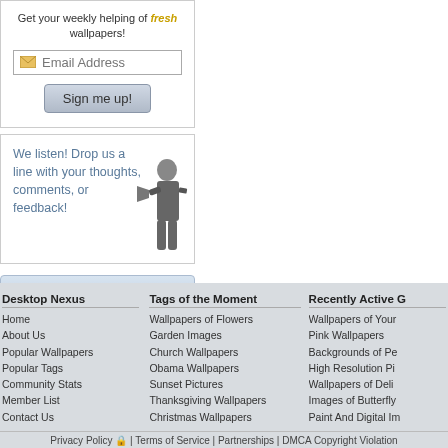Get your weekly helping of fresh wallpapers!
[Figure (screenshot): Email address input field with envelope icon]
[Figure (screenshot): Sign me up! button]
We listen! Drop us a line with your thoughts, comments, or feedback!
[Figure (photo): Black and white image of a man with a megaphone]
Support This Site
Desktop Nexus
Home
About Us
Popular Wallpapers
Popular Tags
Community Stats
Member List
Contact Us
Tags of the Moment
Wallpapers of Flowers
Garden Images
Church Wallpapers
Obama Wallpapers
Sunset Pictures
Thanksgiving Wallpapers
Christmas Wallpapers
Recently Active G
Wallpapers of Your
Pink Wallpapers
Backgrounds of Pe
High Resolution Pi
Wallpapers of Deli
Images of Butterfly
Paint And Digital Im
Privacy Policy | Terms of Service | Partnerships | DMCA Copyright Violation